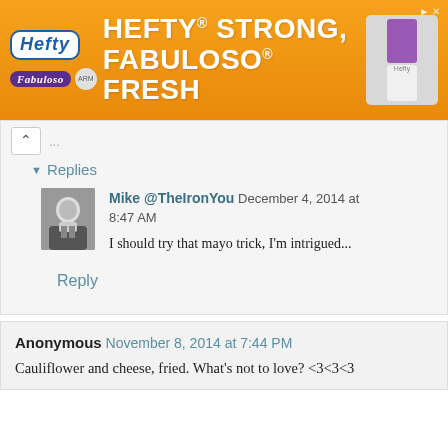[Figure (other): Advertisement banner: orange background with Hefty and Fabuloso logos, text reading HEFTY STRONG, FABULOSO FRESH, and product images on the right]
Replies
[Figure (photo): Small avatar photo of a man in a suit]
Mike @TheIronYou December 4, 2014 at 8:47 AM
I should try that mayo trick, I'm intrigued...
Reply
Anonymous November 8, 2014 at 7:44 PM
Cauliflower and cheese, fried. What's not to love? <3<3<3